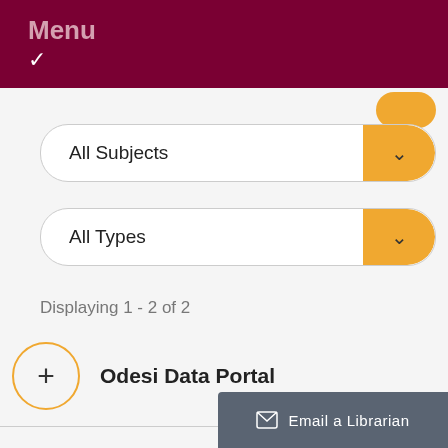Menu
All Subjects
All Types
Displaying 1 - 2 of 2
Odesi Data Portal
Passport (for Passport GM
Email a Librarian